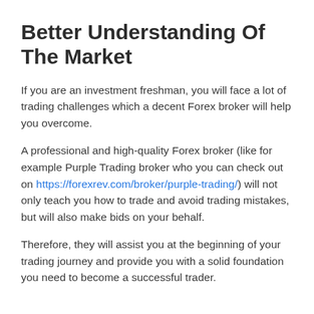Better Understanding Of The Market
If you are an investment freshman, you will face a lot of trading challenges which a decent Forex broker will help you overcome.
A professional and high-quality Forex broker (like for example Purple Trading broker who you can check out on https://forexrev.com/broker/purple-trading/) will not only teach you how to trade and avoid trading mistakes, but will also make bids on your behalf.
Therefore, they will assist you at the beginning of your trading journey and provide you with a solid foundation you need to become a successful trader.